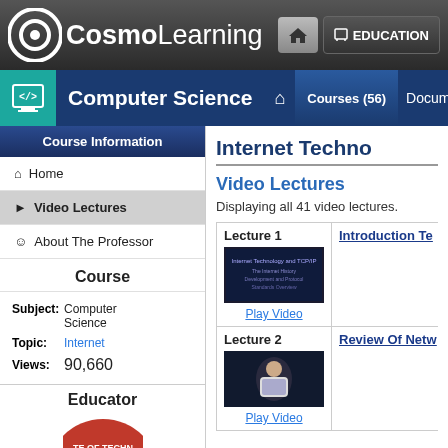[Figure (screenshot): CosmoLearning website header with logo, home button, and EDUCATION navigation button]
Computer Science | Courses (56) | Docum...
Course Information
Home
Video Lectures
About The Professor
Course
Subject: Computer Science
Topic: Internet
Views: 90,660
Educator
Internet Techno...
Video Lectures
Displaying all 41 video lectures.
| Lecture | Title |
| --- | --- |
| Lecture 1
[thumbnail]
Play Video | Introduction Te... |
| Lecture 2
[thumbnail]
Play Video | Review Of Netw... |